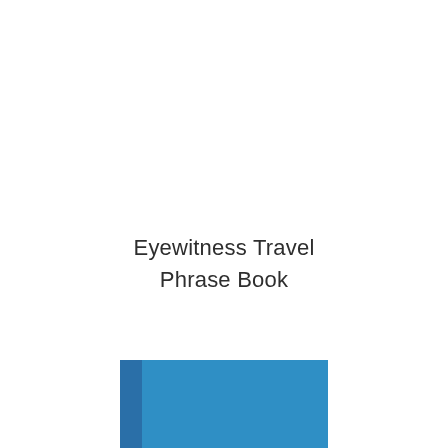Eyewitness Travel Phrase Book
[Figure (illustration): Bottom portion of a blue book cover with two shades of blue — a darker blue spine strip on the left and a lighter blue main cover area on the right.]